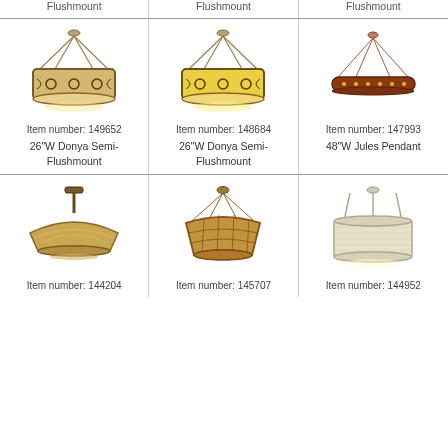Flushmount
Flushmount
Flushmount
[Figure (photo): 26"W Donya Semi-Flushmount pendant light fixture with ornate bronze frame and amber shade, item 149652]
Item number: 149652
26"W Donya Semi-Flushmount
[Figure (photo): 26"W Donya Semi-Flushmount pendant light fixture with ornate frame and yellow shade, item 148684]
Item number: 148684
26"W Donya Semi-Flushmount
[Figure (photo): 48"W Jules Pendant ring light fixture in dark wood/red finish with cable suspension, item 147993]
Item number: 147993
48"W Jules Pendant
[Figure (photo): Semi-flushmount light fixture with amber glass dome shade, item 144204]
Item number: 144204
[Figure (photo): Pendant light fixture with stained glass bowl shade on chain suspension, item 145707]
Item number: 145707
[Figure (photo): Drum pendant light fixture with cream fabric shade on rod suspension, item 144952]
Item number: 144952